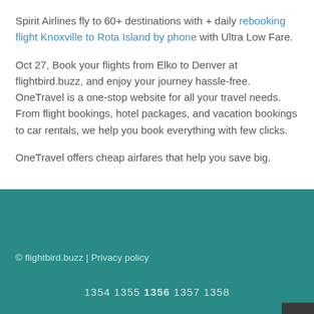Spirit Airlines fly to 60+ destinations with + daily rebooking flight Knoxville to Rota Island by phone with Ultra Low Fare.
Oct 27, Book your flights from Elko to Denver at flightbird.buzz, and enjoy your journey hassle-free. OneTravel is a one-stop website for all your travel needs. From flight bookings, hotel packages, and vacation bookings to car rentals, we help you book everything with few clicks.
OneTravel offers cheap airfares that help you save big.
© flightbird.buzz | Privacy policy
1354 1355 1356 1357 1358